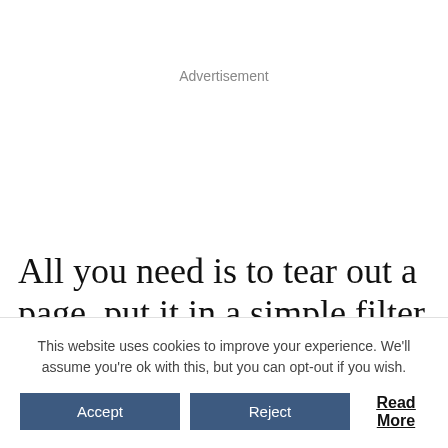Advertisement
All you need is to tear out a page, put it in a simple filter holder and then pour water from rivers or wells on top and let the filter do its thing. Outcomes clean water
This website uses cookies to improve your experience. We'll assume you're ok with this, but you can opt-out if you wish.
Accept  Reject  Read More